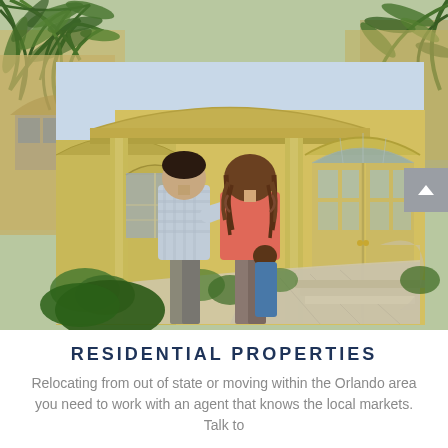[Figure (photo): A couple viewed from behind, with arms around each other, looking at a Florida-style stucco home with arched entryway and French doors. Palm trees visible in background. The main photo is overlaid on a background showing palm fronds and building fragments.]
RESIDENTIAL PROPERTIES
Relocating from out of state or moving within the Orlando area you need to work with an agent that knows the local markets. Talk to